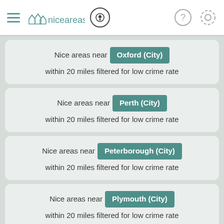niceareas
Nice areas near Oxford (City) within 20 miles filtered for low crime rate
Nice areas near Perth (City) within 20 miles filtered for low crime rate
Nice areas near Peterborough (City) within 20 miles filtered for low crime rate
Nice areas near Plymouth (City) within 20 miles filtered for low crime rate